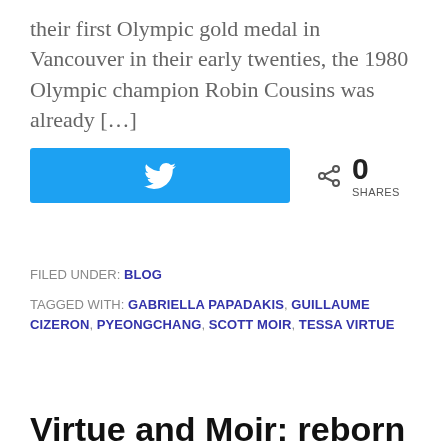their first Olympic gold medal in Vancouver in their early twenties, the 1980 Olympic champion Robin Cousins was already […]
[Figure (screenshot): Twitter share button (cyan/blue) and share count showing 0 SHARES]
FILED UNDER: BLOG
TAGGED WITH: GABRIELLA PAPADAKIS, GUILLAUME CIZERON, PYEONGCHANG, SCOTT MOIR, TESSA VIRTUE
Virtue and Moir: reborn after the Grand Prix Final
JANUARY 5, 2018 BY — 1 COMMENT